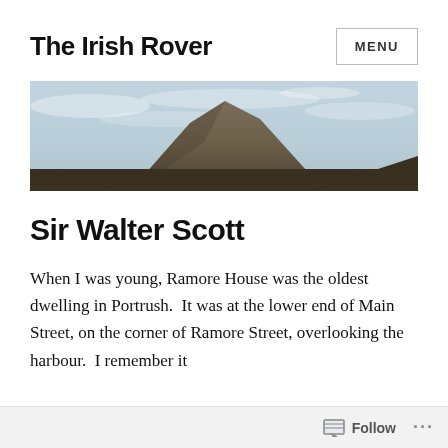The Irish Rover
[Figure (photo): Mountain peak with cloudy sky behind it, wide landscape banner image]
Sir Walter Scott
When I was young, Ramore House was the oldest dwelling in Portrush.  It was at the lower end of Main Street, on the corner of Ramore Street, overlooking the harbour.  I remember it
Follow ...